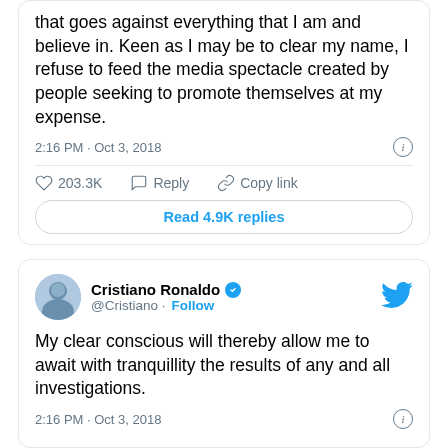that goes against everything that I am and believe in. Keen as I may be to clear my name, I refuse to feed the media spectacle created by people seeking to promote themselves at my expense.
2:16 PM · Oct 3, 2018
203.3K  Reply  Copy link
Read 4.9K replies
Cristiano Ronaldo @Cristiano · Follow
My clear conscious will thereby allow me to await with tranquillity the results of any and all investigations.
2:16 PM · Oct 3, 2018